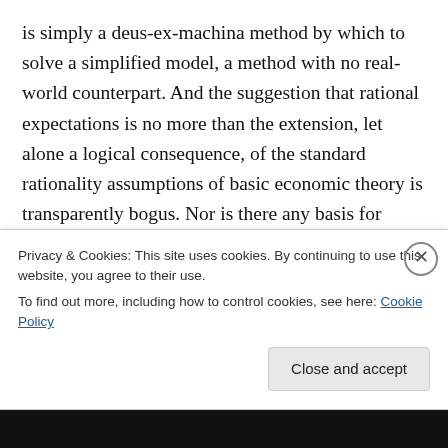is simply a deus-ex-machina method by which to solve a simplified model, a method with no real-world counterpart. And the suggestion that rational expectations is no more than the extension, let alone a logical consequence, of the standard rationality assumptions of basic economic theory is transparently bogus. Nor is there any basis for assuming that, if a general equilibrium does exist, it is unique, and that if it is unique, it is necessarily stable. In particular, in an economy with an incomplete (in the Arrow-Debreu sense) set of markets, an equilibrium may very much depend on the expectations of agents, expectations
Privacy & Cookies: This site uses cookies. By continuing to use this website, you agree to their use.
To find out more, including how to control cookies, see here: Cookie Policy
Close and accept